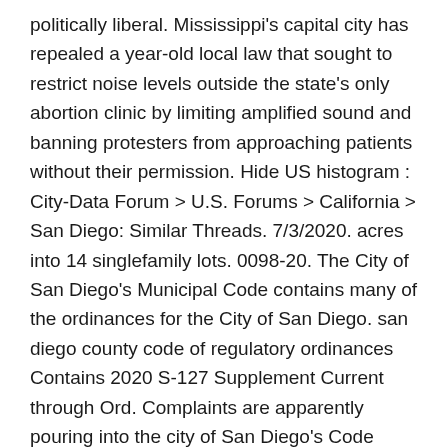politically liberal. Mississippi's capital city has repealed a year-old local law that sought to restrict noise levels outside the state's only abortion clinic by limiting amplified sound and banning protesters from approaching patients without their permission. Hide US histogram : City-Data Forum > U.S. Forums > California > San Diego: Similar Threads. 7/3/2020. acres into 14 singlefamily lots. 0098-20. The City of San Diego's Municipal Code contains many of the ordinances for the City of San Diego. san diego county code of regulatory ordinances Contains 2020 S-127 Supplement Current through Ord. Complaints are apparently pouring into the city of San Diego's Code Enforcement Division over neighbors making an unwelcome amount of noise. 0097-20. The project is subject to the County Noise Ordinance - and Noise Elements. UCLA student Shay Rose made her own 12-foot social distancing dress. San Diego Municipal Code 59.5.0502: It shall be unlawful for any